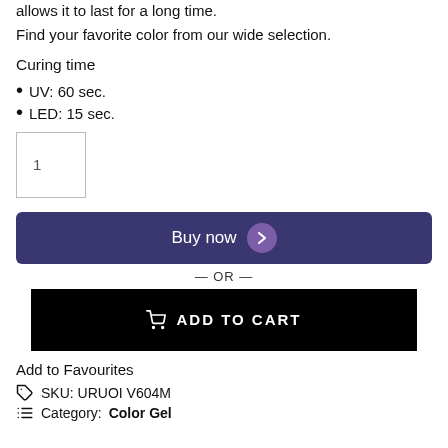allows it to last for a long time.
Find your favorite color from our wide selection.
Curing time
UV: 60 sec.
LED: 15 sec.
1
Buy now
— OR —
ADD TO CART
Add to Favourites
SKU: URUOI V604M
Category: Color Gel